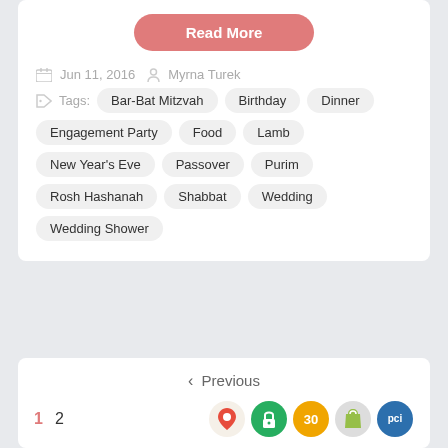Read More
Jun 11, 2016  Myrna Turek
Tags: Bar-Bat Mitzvah  Birthday  Dinner
Engagement Party  Food  Lamb
New Year's Eve  Passover  Purim
Rosh Hashanah  Shabbat  Wedding
Wedding Shower
< Previous
1  2